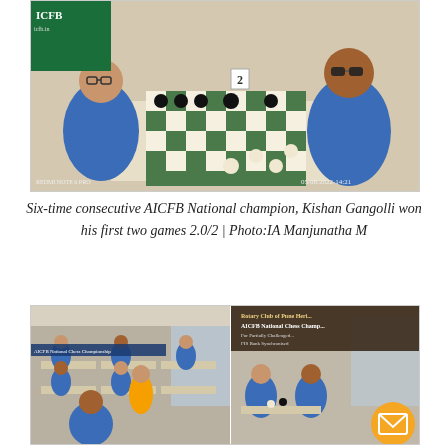[Figure (photo): Two men in blue polo shirts sitting across a chess board, playing a game of chess. A banner with ICFB logo is visible in the background. Timestamp visible bottom right: 05/08/2022.]
Six-time consecutive AICFB National champion, Kishan Gangolli won his first two games 2.0/2 | Photo:IA Manjunatha M
[Figure (photo): Two side-by-side photos of a chess tournament hall. Left: players in blue shirts seated at tables in a large room with banners. Right: close-up of players at tables with AICFB National Chess Championship banner visible. An orange-shirted person stands in the center. An email/envelope icon button is overlaid in the bottom-right corner.]